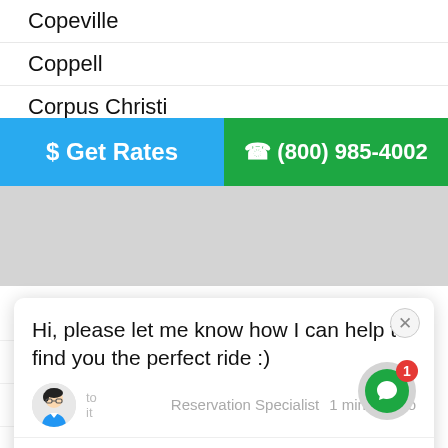Copeville
Coppell
Corpus Christi
[Figure (screenshot): Two buttons: blue 'Get Rates' and green phone number '(800) 985-4002']
Cypress
Dallas
Danbury
Denton
[Figure (screenshot): Chat popup with avatar, message 'Hi, please let me know how I can help to find you the perfect ride :)', Reservation Specialist, 1 minute ago, and input field]
Dickinson
Donna
Dumas
Duncanville
Edinburg
El Paso
Euless